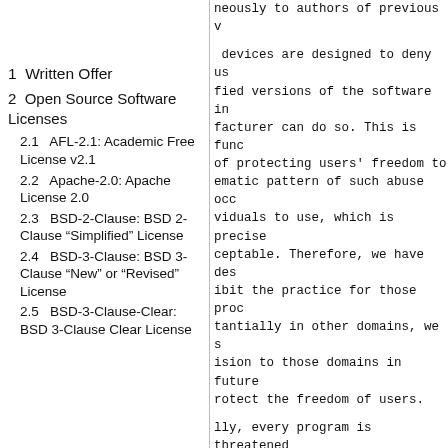neously to authors of previous v
1  Written Offer
2  Open Source Software Licenses
2.1  AFL-2.1: Academic Free License v2.1
2.2  Apache-2.0: Apache License 2.0
2.3  BSD-2-Clause: BSD 2-Clause “Simplified” License
2.4  BSD-3-Clause: BSD 3-Clause “New” or “Revised” License
2.5  BSD-3-Clause-Clear: BSD 3-Clause Clear License
devices are designed to deny us fied versions of the software in facturer can do so. This is func of protecting users' freedom to ematic pattern of such abuse occ viduals to use, which is precise ceptable. Therefore, we have des ibit the practice for those proc tantially in other domains, we s ision to those domains in future rotect the freedom of users.
lly, every program is threatened es should not allow patents to r ware on general-purpose computer void the special danger that pat d make it effectively proprietar res that patents cannot be used
precise terms and conditions for fication follow.